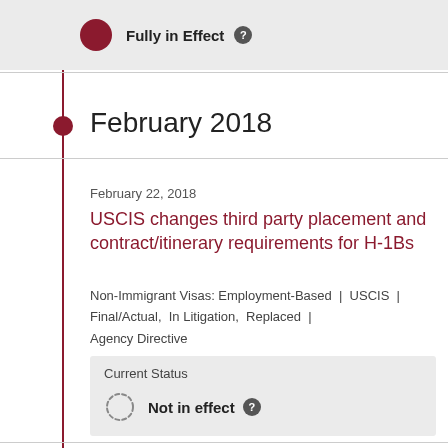Fully in Effect
February 2018
February 22, 2018
USCIS changes third party placement and contract/itinerary requirements for H-1Bs
Non-Immigrant Visas: Employment-Based | USCIS | Final/Actual, In Litigation, Replaced | Agency Directive
Current Status
Not in effect